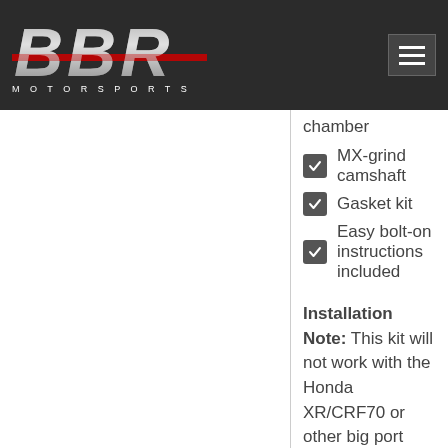[Figure (logo): BBR Motorsports logo on dark navbar background]
chamber
MX-grind camshaft
Gasket kit
Easy bolt-on instructions included
Installation Note: This kit will not work with the Honda XR/CRF70 or other big port cylinder heads. It is designed for the tiny combustion chamber of the OEM Honda XR/CRF50 cylinder head. The flat top piston dome will result in an extremely low compression ratio when combined with the XR/CRF70 type cylinder head. The result is a motor that makes less horsepower than stock. BBR Does not currently make a big bore kit for the XR/CRF70.
BBR General Jetting Guidelines Chart